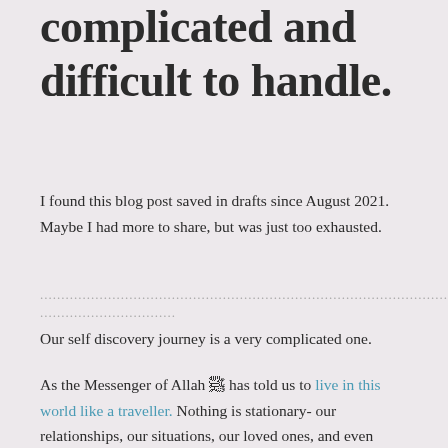complicated and difficult to handle.
I found this blog post saved in drafts since August 2021. Maybe I had more to share, but was just too exhausted.
...................................................................................................................................................
................................
Our self discovery journey is a very complicated one.
As the Messenger of Allah ﷺ has told us to live in this world like a traveller. Nothing is stationary- our relationships, our situations, our loved ones, and even ourselves.